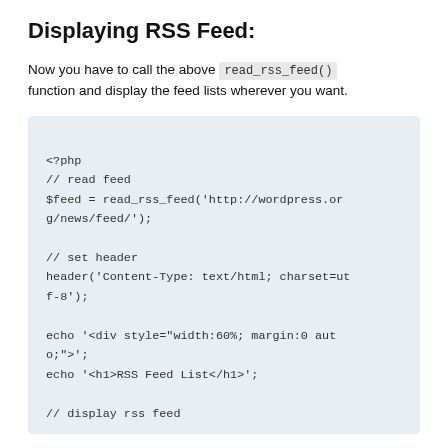Displaying RSS Feed:
Now you have to call the above read_rss_feed() function and display the feed lists wherever you want.
<?php
// read feed
$feed = read_rss_feed('http://wordpress.org/news/feed/');

// set header
header('Content-Type: text/html; charset=utf-8');

echo '<div style="width:60%; margin:0 auto;">';
echo '<h1>RSS Feed List</h1>';

// display rss feed